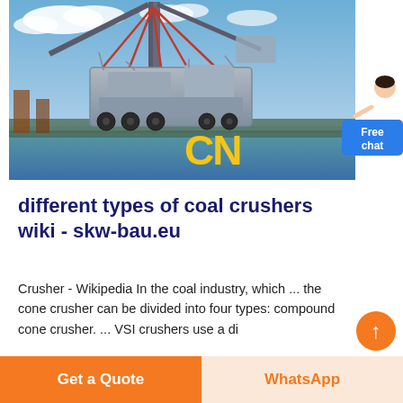[Figure (photo): Industrial crane/crusher machine being lifted by cables at a dock/port, with blue sky and clouds in background, CN logo visible in yellow]
different types of coal crushers wiki - skw-bau.eu
Crusher - Wikipedia In the coal industry, which ... the cone crusher can be divided into four types: compound cone crusher. ... VSI crushers use a di